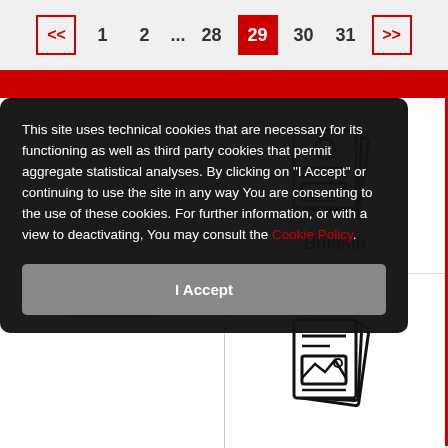<< 1 2 ... 28 29 30 31 >>
This site uses technical cookies that are necessary for its functioning as well as third party cookies that permit aggregate statistical analyses. By clicking on "I Accept" or continuing to use the site in any way You are consenting to the use of these cookies. For further information, or with a view to deactivating, You may consult the Cookie Policy.
[Figure (illustration): Cookie consent overlay with I Accept button]
[Figure (illustration): Stack of bulletin/newspaper documents icon]
Bulletin
[Figure (illustration): Stack of documents with image icon]